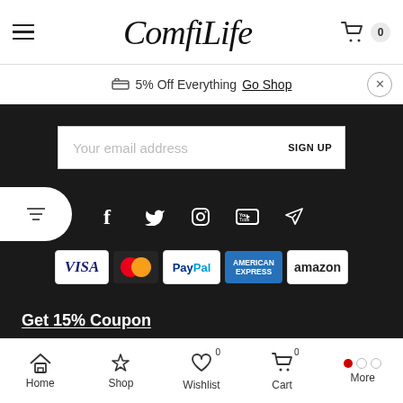ComfiLife
5% Off Everything  Go Shop
[Figure (screenshot): Email signup input field with placeholder 'Your email address' and SIGN UP button]
[Figure (infographic): Social media icons: Facebook, Twitter, Instagram, YouTube, Telegram]
[Figure (infographic): Payment method badges: VISA, MasterCard, PayPal, American Express, amazon]
Get 15% Coupon
Home  Shop  Wishlist 0  Cart 0  More